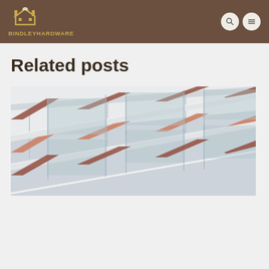BINDLEYHARDWARE
Related posts
[Figure (photo): Close-up architectural photo of a building with repeating diagonal balcony structures, glass railings, and orange/brown accents visible between the angled concrete slabs.]